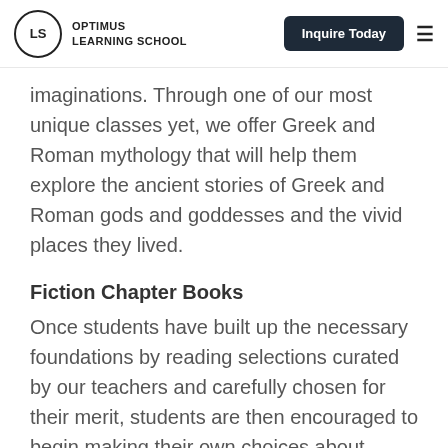OPTIMUS LEARNING SCHOOL
imaginations. Through one of our most unique classes yet, we offer Greek and Roman mythology that will help them explore the ancient stories of Greek and Roman gods and goddesses and the vivid places they lived.
Fiction Chapter Books
Once students have built up the necessary foundations by reading selections curated by our teachers and carefully chosen for their merit, students are then encouraged to begin making their own choices about which novels to read in a group Book Club